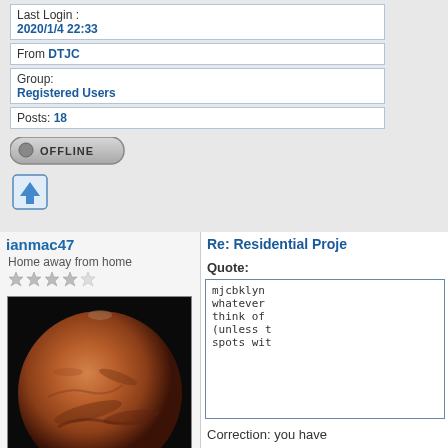Last Login : 2020/1/4 22:33
From DTJC
Group: Registered Users
Posts: 18
[Figure (screenshot): OFFLINE button with grey circle indicator]
[Figure (screenshot): Blue upload/up arrow icon button]
ianmac47
Home away from home
[Figure (photo): Photograph of Mars planet on black background]
[Figure (screenshot): Blue expand/fullscreen icon]
Joined: 2006/4/10 13:29
Re: Residential Proje
Quote:
mjcbklyn whatever think of (unless t spots wit
Correction: you have